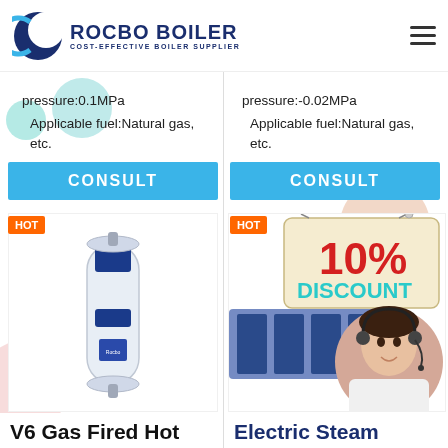ROCBO BOILER - COST-EFFECTIVE BOILER SUPPLIER
pressure:0.1MPa
Applicable fuel:Natural gas, etc.
pressure:-0.02MPa
Applicable fuel:Natural gas, etc.
[Figure (other): Blue CONSULT button (left column)]
[Figure (other): Blue CONSULT button (right column)]
[Figure (photo): HOT badge with V6 gas fired hot water boiler product image (cylindrical white/blue unit)]
[Figure (photo): HOT badge with 10% DISCOUNT promotional banner, industrial boiler photo, and customer service representative with headset]
V6 Gas Fired Hot
Electric Steam